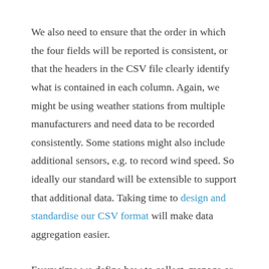We also need to ensure that the order in which the four fields will be reported is consistent, or that the headers in the CSV file clearly identify what is contained in each column. Again, we might be using weather stations from multiple manufacturers and need data to be recorded consistently. Some stations might also include additional sensors, e.g. to record wind speed. So ideally our standard will be extensible to support that additional data. Taking time to design and standardise our CSV format will make data aggregation easier.
Every time we define how to collect, manage or share data within a system, we are creating agreements that will help ensure that everyone involved in those processes can be sure that those tasks are carried out in